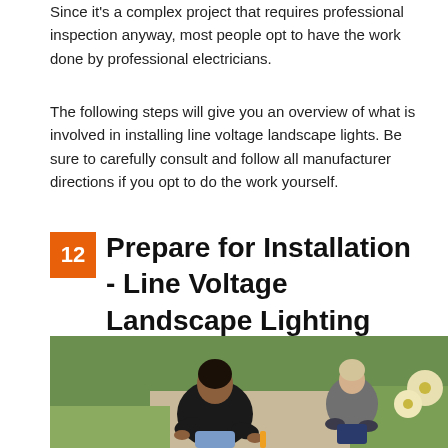Since it's a complex project that requires professional inspection anyway, most people opt to have the work done by professional electricians.
The following steps will give you an overview of what is involved in installing line voltage landscape lights. Be sure to carefully consult and follow all manufacturer directions if you opt to do the work yourself.
12 Prepare for Installation - Line Voltage Landscape Lighting
[Figure (photo): Two people working in a garden, one in the foreground wearing a black top kneeling close to the ground, another in the background wearing a grey shirt crouching near plants and flowers.]